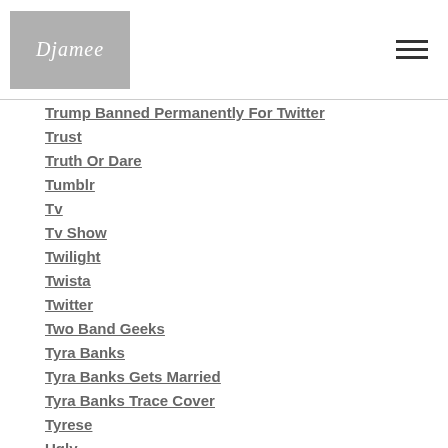Djamee
Trump Banned Permanently For Twitter
Trust
Truth Or Dare
Tumblr
Tv
Tv Show
Twilight
Twista
Twitter
Two Band Geeks
Tyra Banks
Tyra Banks Gets Married
Tyra Banks Trace Cover
Tyrese
Ugly
Ugly Website